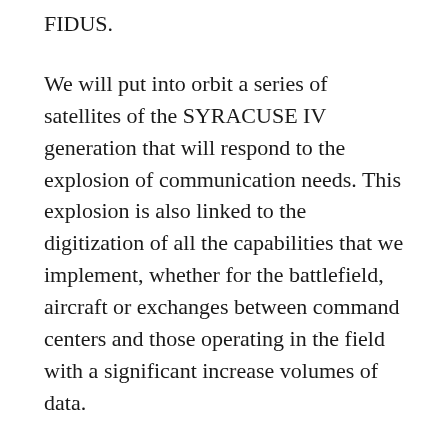FIDUS.
We will put into orbit a series of satellites of the SYRACUSE IV generation that will respond to the explosion of communication needs. This explosion is also linked to the digitization of all the capabilities that we implement, whether for the battlefield, aircraft or exchanges between command centers and those operating in the field with a significant increase volumes of data.
Beyond the extra capacity they bring, these satellites, which are a key system, are extremely hardened against threats.
The provision of these means for the benefit of